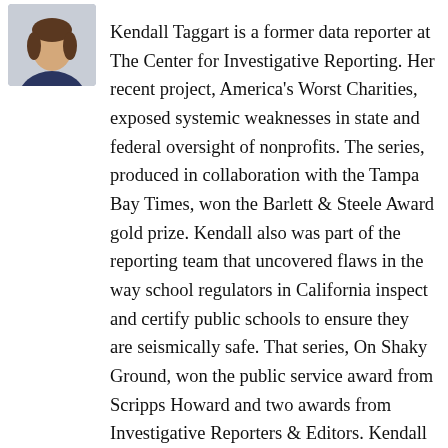[Figure (photo): Headshot photo of Kendall Taggart, a woman with dark hair wearing a dark blazer, shown from shoulders up]
Kendall Taggart is a former data reporter at The Center for Investigative Reporting. Her recent project, America's Worst Charities, exposed systemic weaknesses in state and federal oversight of nonprofits. The series, produced in collaboration with the Tampa Bay Times, won the Barlett & Steele Award gold prize. Kendall also was part of the reporting team that uncovered flaws in the way school regulators in California inspect and certify public schools to ensure they are seismically safe. That series, On Shaky Ground, won the public service award from Scripps Howard and two awards from Investigative Reporters & Editors. Kendall is a Massachusetts native and graduate of Reed College. She has lived and worked in Chiang